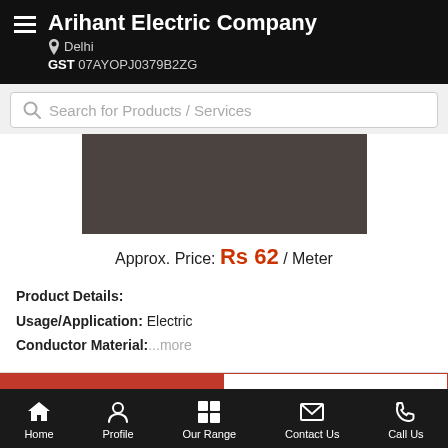Arihant Electric Company | Delhi | GST 07AYOPJ0379B2ZG
Search for Products / Services
[Figure (photo): Product image placeholder — dark brownish-gray rectangle representing an electrical product]
Approx. Price: Rs 62 / Meter
Product Details:
Usage/Application: Electric
Conductor Material: ...more
Call Us
Get Details
Home | Profile | Our Range | Contact Us | Call Us